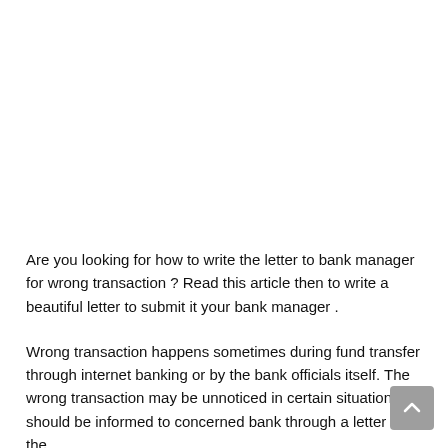Are you looking for how to write the letter to bank manager for wrong transaction ? Read this article then to write a beautiful letter to submit it your bank manager .
Wrong transaction happens sometimes during fund transfer through internet banking or by the bank officials itself. The wrong transaction may be unnoticed in certain situations. T should be informed to concerned bank through a letter to the